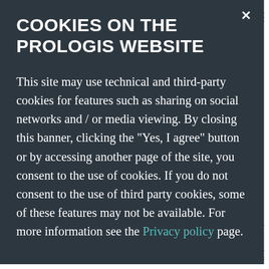[Figure (screenshot): Cookie consent overlay on the Prologis website. Dark overlay with title 'COOKIES ON THE PROLOGIS WEBSITE', body text explaining cookie usage, a 'Privacy policy' link, and two buttons: 'No, I do not consent' and 'YES, I AGREE'. Behind the overlay, partially visible financial document with dollar signs, underlines, and 'Total equity' text at the bottom.]
COOKIES ON THE PROLOGIS WEBSITE
This site may use technical and third-party cookies for features such as sharing on social networks and / or media viewing. By closing this banner, clicking the "Yes, I agree" button or by accessing another page of the site, you consent to the use of cookies. If you do not consent to the use of third party cookies, some of these features may not be available. For more information see the Privacy policy page.
No, I do not consent
YES, I AGREE
Total equity